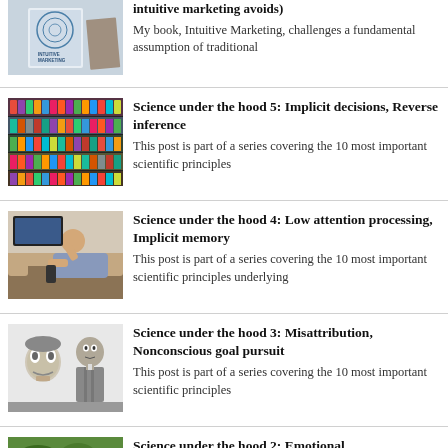[Figure (photo): Book cover of Intuitive Marketing]
intuitive marketing avoids)
My book, Intuitive Marketing, challenges a fundamental assumption of traditional
[Figure (photo): Colorful product shelves in a store]
Science under the hood 5: Implicit decisions, Reverse inference
This post is part of a series covering the 10 most important scientific principles
[Figure (photo): Person relaxing on a couch watching TV]
Science under the hood 4: Low attention processing, Implicit memory
This post is part of a series covering the 10 most important scientific principles underlying
[Figure (photo): Black and white photo of man with ventriloquist dummy]
Science under the hood 3: Misattribution, Nonconscious goal pursuit
This post is part of a series covering the 10 most important scientific principles
[Figure (photo): Nature/green outdoor photo]
Science under the hood 2: Emotional